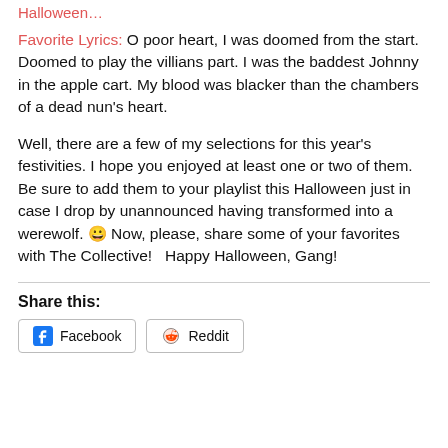Halloween…
Favorite Lyrics: O poor heart, I was doomed from the start. Doomed to play the villians part. I was the baddest Johnny in the apple cart. My blood was blacker than the chambers of a dead nun's heart.
Well, there are a few of my selections for this year's festivities. I hope you enjoyed at least one or two of them. Be sure to add them to your playlist this Halloween just in case I drop by unannounced having transformed into a werewolf. 😀 Now, please, share some of your favorites with The Collective!   Happy Halloween, Gang!
Share this:
Facebook   Reddit